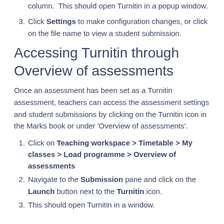column.  This should open Turnitin in a popup window.
Click Settings to make configuration changes, or click on the file name to view a student submission.
Accessing Turnitin through Overview of assessments
Once an assessment has been set as a Turnitin assessment, teachers can access the assessment settings and student submissions by clicking on the Turnitin icon in the Marks book or under 'Overview of assessments'.
Click on Teaching workspace > Timetable > My classes > Load programme > Overview of assessments
Navigate to the Submission pane and click on the Launch button next to the Turnitin icon.
This should open Turnitin in a window.